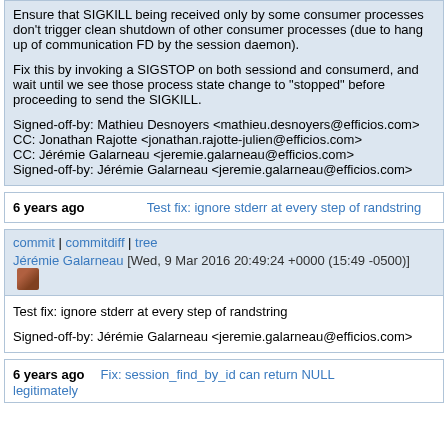Ensure that SIGKILL being received only by some consumer processes don't trigger clean shutdown of other consumer processes (due to hang up of communication FD by the session daemon).

Fix this by invoking a SIGSTOP on both sessiond and consumerd, and wait until we see those process state change to "stopped" before proceeding to send the SIGKILL.

Signed-off-by: Mathieu Desnoyers <mathieu.desnoyers@efficios.com>
CC: Jonathan Rajotte <jonathan.rajotte-julien@efficios.com>
CC: Jérémie Galarneau <jeremie.galarneau@efficios.com>
Signed-off-by: Jérémie Galarneau <jeremie.galarneau@efficios.com>
6 years ago    Test fix: ignore stderr at every step of randstring
commit | commitdiff | tree
Jérémie Galarneau [Wed, 9 Mar 2016 20:49:24 +0000 (15:49 -0500)]
Test fix: ignore stderr at every step of randstring

Signed-off-by: Jérémie Galarneau <jeremie.galarneau@efficios.com>
6 years ago    Fix: session_find_by_id can return NULL legitimately